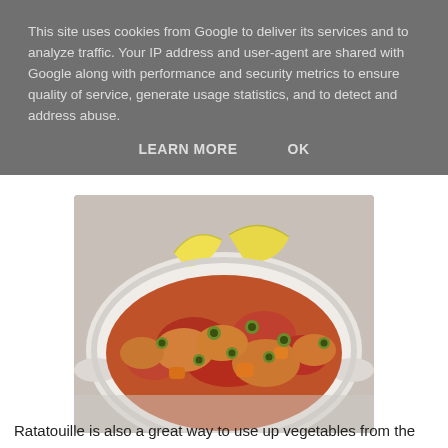This site uses cookies from Google to deliver its services and to analyze traffic. Your IP address and user-agent are shared with Google along with performance and security metrics to ensure quality of service, generate usage statistics, and to detect and address abuse.
LEARN MORE   OK
[Figure (photo): A white ceramic pan/skillet containing a stew or braise with chicken pieces, green olives, tomatoes, and vegetables. Lemon wedges are visible at the top. The pan sits on a marble surface.]
Ratatouille is also a great way to use up vegetables from the